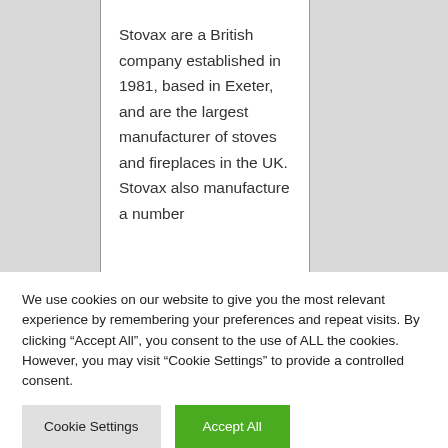Stovax are a British company established in 1981, based in Exeter, and are the largest manufacturer of stoves and fireplaces in the UK. Stovax also manufacture a number
We use cookies on our website to give you the most relevant experience by remembering your preferences and repeat visits. By clicking “Accept All”, you consent to the use of ALL the cookies. However, you may visit “Cookie Settings” to provide a controlled consent.